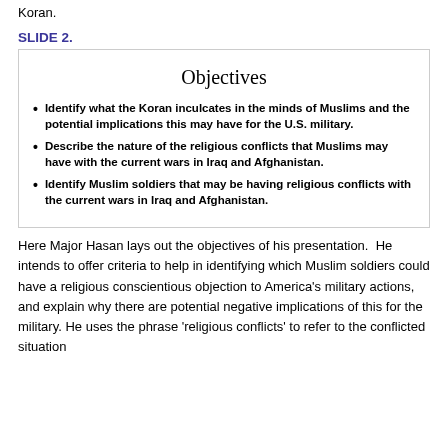Koran.
SLIDE 2.
[Figure (other): Slide titled 'Objectives' with three bullet points about identifying what the Koran inculcates in Muslims, describing religious conflicts, and identifying Muslim soldiers with religious conflicts.]
Here Major Hasan lays out the objectives of his presentation.  He intends to offer criteria to help in identifying which Muslim soldiers could have a religious conscientious objection to America's military actions, and explain why there are potential negative implications of this for the military. He uses the phrase 'religious conflicts' to refer to the conflicted situation